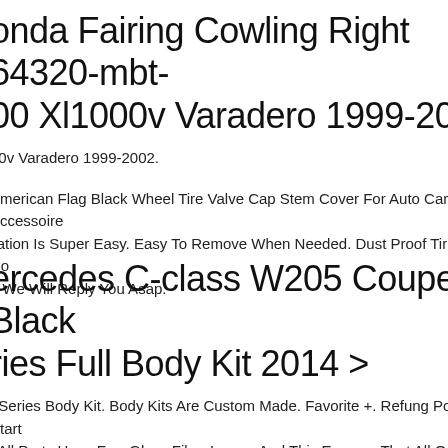Honda Fairing Cowling Right 64320-mbt-00 Xl1000v Varadero 1999-2002
00v Varadero 1999-2002.
American Flag Black Wheel Tire Valve Cap Stem Cover For Auto Car Accessoires. Installation Is Super Easy. Easy To Remove When Needed. Dust Proof Tire Cap. Co... We Will Reply You Asap.
Mercedes C-class W205 Coupe Black Series Full Body Kit 2014 >
t Series Body Kit. Body Kits Are Custom Made. Favorite +. Refung Policy. Start... All Parts Have Few Glass Fiber Layers And This Ensures That All Our Products op Quality. -hood Panel. - Boot Spoiler.
ric Shaving Machine Razor 3 Head Rechargeable Cordless Shaver Hair Beard... less Steel Sharp Blades And Fast Shaving, Painless. Cordless Operation, Mod... gn. Hair Clipper Host 1. Cleaning Brush 1. The Plug Of This Product Is The Eu... ou Charge Us At 4 Then When Solution Us Will Provide You With A A...